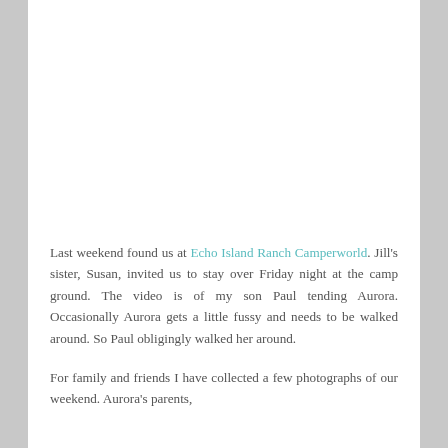[Figure (photo): A large white/blank image area at the top of the page, appearing to be a photo placeholder or white image.]
Last weekend found us at Echo Island Ranch Camperworld. Jill's sister, Susan, invited us to stay over Friday night at the camp ground. The video is of my son Paul tending Aurora. Occasionally Aurora gets a little fussy and needs to be walked around. So Paul obligingly walked her around.
For family and friends I have collected a few photographs of our weekend. Aurora's parents,